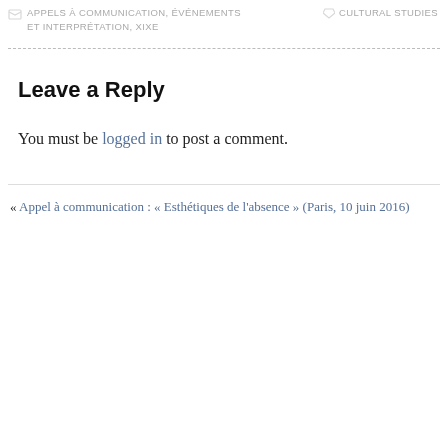APPELS À COMMUNICATION, ÉVÉNEMENTS ET INTERPRÉTATION, XIXE    CULTURAL STUDIES
Leave a Reply
You must be logged in to post a comment.
« Appel à communication : « Esthétiques de l'absence » (Paris, 10 juin 2016)